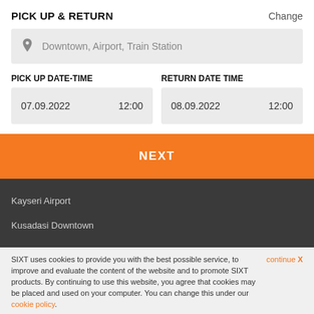PICK UP & RETURN
Change
Downtown, Airport, Train Station
PICK UP DATE-TIME
RETURN DATE TIME
07.09.2022   12:00
08.09.2022   12:00
NEXT
Kayseri Airport
Kusadasi Downtown
SIXT uses cookies to provide you with the best possible service, to improve and evaluate the content of the website and to promote SIXT products. By continuing to use this website, you agree that cookies may be placed and used on your computer. You can change this under our cookie policy.
continue X